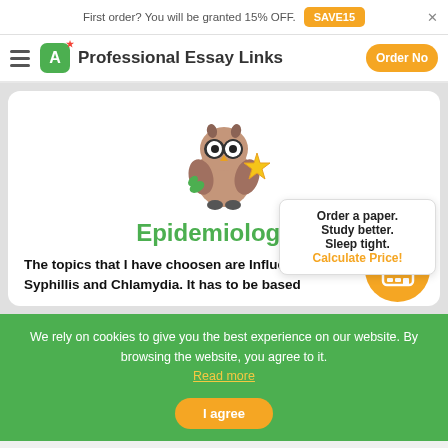First order? You will be granted 15% OFF. SAVE15
Professional Essay Links  Order Now
[Figure (illustration): Cartoon owl mascot holding a gold star]
Epidemiology...
The topics that I have choosen are Influenza, Syphillis and Chlamydia. It has to be based...
Order a paper. Study better. Sleep tight. Calculate Price!
We rely on cookies to give you the best experience on our website. By browsing the website, you agree to it. Read more
I agree